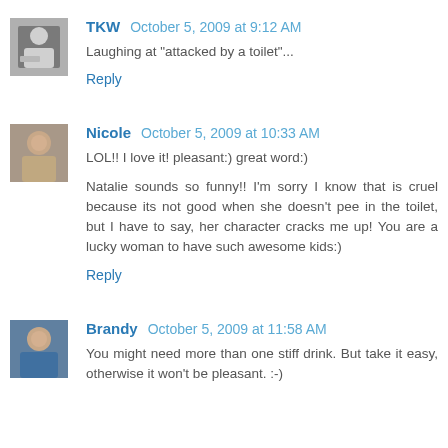[Figure (photo): Small avatar photo of TKW, black and white, person at a desk]
TKW October 5, 2009 at 9:12 AM
Laughing at "attacked by a toilet"...
Reply
[Figure (photo): Small avatar photo of Nicole, woman smiling]
Nicole October 5, 2009 at 10:33 AM
LOL!! I love it! pleasant:) great word:)
Natalie sounds so funny!! I'm sorry I know that is cruel because its not good when she doesn't pee in the toilet, but I have to say, her character cracks me up! You are a lucky woman to have such awesome kids:)
Reply
[Figure (photo): Small avatar photo of Brandy, woman with dark hair]
Brandy October 5, 2009 at 11:58 AM
You might need more than one stiff drink. But take it easy, otherwise it won't be pleasant. :-)